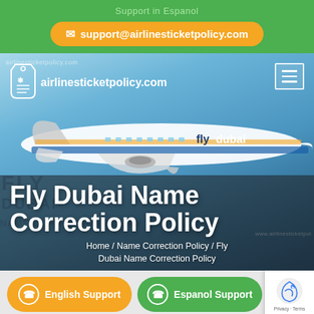Support in Espanol
support@airlinesticketpolicy.com
[Figure (screenshot): Website header showing airlinesticketpolicy.com logo with tag icon and hamburger menu over a blue sky background with a flydubai airplane]
Fly Dubai Name Correction Policy
Home / Name Correction Policy / Fly Dubai Name Correction Policy
English Support
Espanol Support